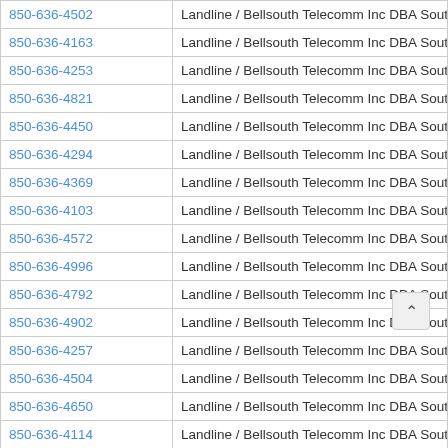| Phone | Type / Carrier |
| --- | --- |
| 850-636-4502 | Landline / Bellsouth Telecomm Inc DBA Southern Bell Tel & Tel |
| 850-636-4163 | Landline / Bellsouth Telecomm Inc DBA Southern Bell Tel & Tel |
| 850-636-4253 | Landline / Bellsouth Telecomm Inc DBA Southern Bell Tel & Tel |
| 850-636-4821 | Landline / Bellsouth Telecomm Inc DBA Southern Bell Tel & Tel |
| 850-636-4450 | Landline / Bellsouth Telecomm Inc DBA Southern Bell Tel & Tel |
| 850-636-4294 | Landline / Bellsouth Telecomm Inc DBA Southern Bell Tel & Tel |
| 850-636-4369 | Landline / Bellsouth Telecomm Inc DBA Southern Bell Tel & Tel |
| 850-636-4103 | Landline / Bellsouth Telecomm Inc DBA Southern Bell Tel & Tel |
| 850-636-4572 | Landline / Bellsouth Telecomm Inc DBA Southern Bell Tel & Tel |
| 850-636-4996 | Landline / Bellsouth Telecomm Inc DBA Southern Bell Tel & Tel |
| 850-636-4792 | Landline / Bellsouth Telecomm Inc DBA Southern Bell Tel & Tel |
| 850-636-4902 | Landline / Bellsouth Telecomm Inc DBA Southern Bell Tel & Tel |
| 850-636-4257 | Landline / Bellsouth Telecomm Inc DBA Southern Bell Tel & Tel |
| 850-636-4504 | Landline / Bellsouth Telecomm Inc DBA Southern Bell Tel & Tel |
| 850-636-4650 | Landline / Bellsouth Telecomm Inc DBA Southern Bell Tel & Tel |
| 850-636-4114 | Landline / Bellsouth Telecomm Inc DBA Southern Bell Tel & Tel |
| 850-636-4656 | Landline / Bellsouth Telecomm Inc DBA Southern Bell Tel & Tel |
| 850-636-4335 | Landline / Bellsouth Telecomm Inc DBA Southern Bell Tel & Tel |
| 850-636-4048 | Landline / Bellsouth Telecomm Inc DBA Southern Bell Tel & Tel |